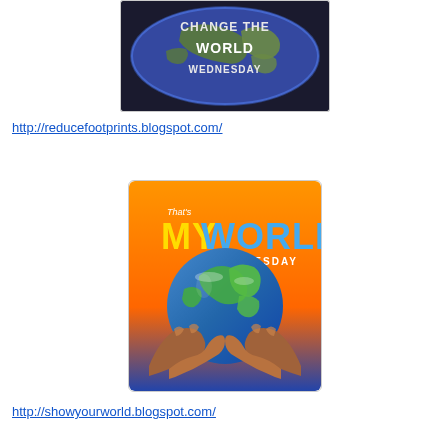[Figure (illustration): Change The World Wednesday logo - dark blue circle with world map and text 'CHANGE THE WORLD WEDNESDAY' in large letters]
http://reducefootprints.blogspot.com/
[Figure (illustration): That's My World Tuesday logo - orange gradient background with Earth globe held in hands, text 'My WORLD TUESDAY']
http://showyourworld.blogspot.com/